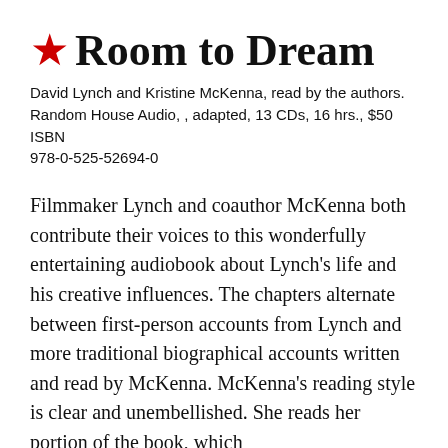★ Room to Dream
David Lynch and Kristine McKenna, read by the authors. Random House Audio, , adapted, 13 CDs, 16 hrs., $50 ISBN 978-0-525-52694-0
Filmmaker Lynch and coauthor McKenna both contribute their voices to this wonderfully entertaining audiobook about Lynch's life and his creative influences. The chapters alternate between first-person accounts from Lynch and more traditional biographical accounts written and read by McKenna. McKenna's reading style is clear and unembellished. She reads her portion of the book, which [redacted] e creative [redacted] and